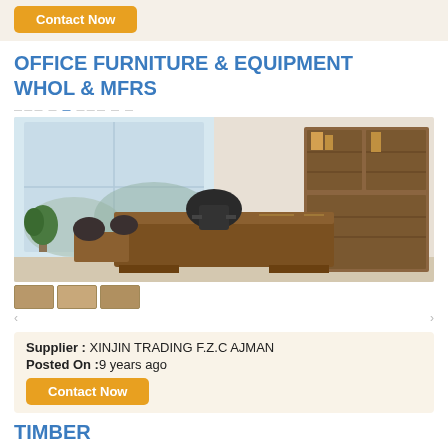[Figure (other): Orange Contact Now button at top]
OFFICE FURNITURE & EQUIPMENT WHOL & MFRS
[Figure (photo): Office furniture showroom with executive desk, chairs, and wooden cabinet]
Supplier : XINJIN TRADING F.Z.C AJMAN
Posted On :9 years ago
[Figure (other): Orange Contact Now button]
TIMBER
[Figure (photo): Stacked timber planks/lumber boards]